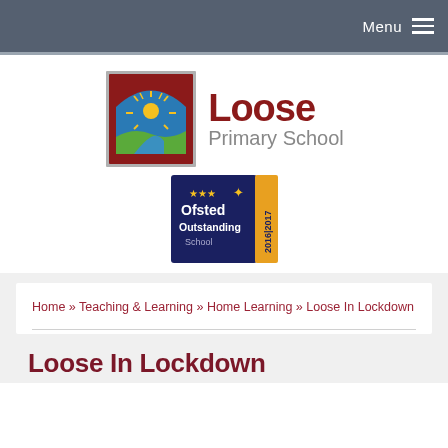Menu
[Figure (logo): Loose Primary School logo with school crest (arch with sun rays, blue sky, green landscape) and school name in dark red text]
[Figure (logo): Ofsted Outstanding School badge 2016|2017 with dark navy background and gold right panel]
Home » Teaching & Learning » Home Learning » Loose In Lockdown
Loose In Lockdown